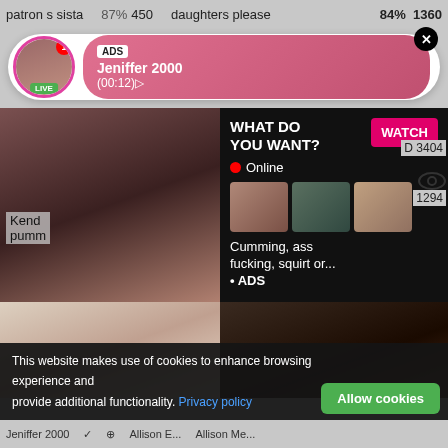patron s sista   87%  450  daughters please   84%  1360
[Figure (screenshot): Ad notification bubble with avatar labeled LIVE, ADS tag, name Jeniffer 2000, time (00:12), close button X]
[Figure (screenshot): Left video thumbnail showing explicit adult content]
[Figure (screenshot): Right ad panel on black background: WHAT DO YOU WANT? with WATCH button, Online indicator, three thumbnails, text: Cumming, ass fucking, squirt or... ADS]
Kend
pumm
D 3404
1294
[Figure (screenshot): Bottom left video thumbnail showing explicit adult content]
[Figure (screenshot): Bottom right video thumbnail showing explicit adult content]
This website makes use of cookies to enhance browsing experience and provide additional functionality. Privacy policy
Allow cookies
Jeniffer 2000   Allison E...   Allison Me...